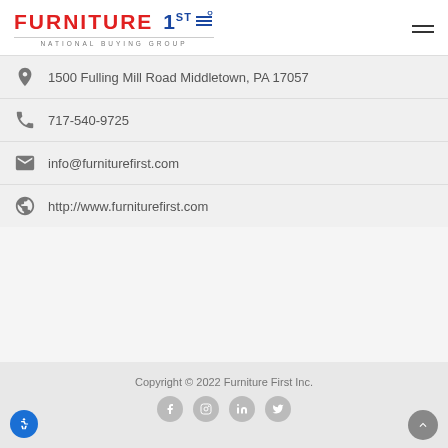[Figure (logo): Furniture 1st National Buying Group logo with red FURNITURE text and blue 1ST text]
1500 Fulling Mill Road Middletown, PA 17057
717-540-9725
info@furniturefirst.com
http://www.furniturefirst.com
Copyright © 2022 Furniture First Inc.